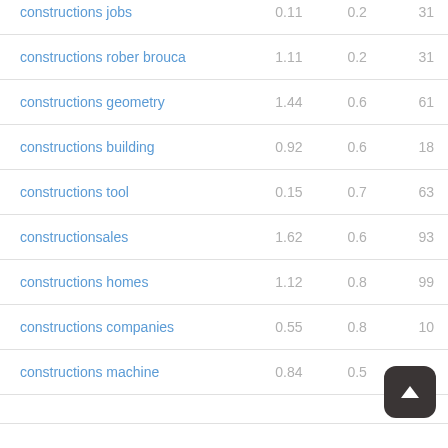| Keyword | Col1 | Col2 | Col3 |
| --- | --- | --- | --- |
| constructions jobs | 0.11 | 0.2 | 31 |
| constructions rober brouca | 1.11 | 0.2 | 31 |
| constructions geometry | 1.44 | 0.6 | 61 |
| constructions building | 0.92 | 0.6 | 18 |
| constructions tool | 0.15 | 0.7 | 63 |
| constructionsales | 1.62 | 0.6 | 93 |
| constructions homes | 1.12 | 0.8 | 99 |
| constructions companies | 0.55 | 0.8 | 10 |
| constructions machine | 0.84 | 0.5 |  |